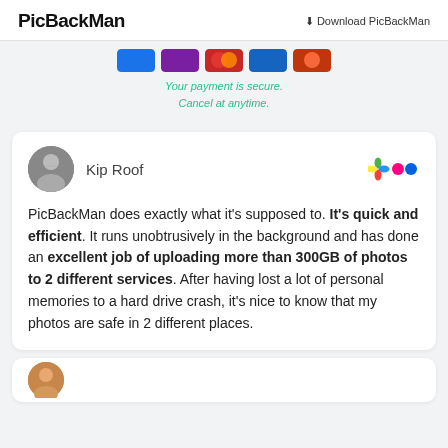PicBackMan  Download PicBackMan
[Figure (other): Payment method icons row (credit card logos)]
Your payment is secure.
Cancel at anytime.
Kip Roof
[Figure (logo): Flickr colorful pinwheel and dots logo]
PicBackMan does exactly what it's supposed to. It's quick and efficient. It runs unobtrusively in the background and has done an excellent job of uploading more than 300GB of photos to 2 different services. After having lost a lot of personal memories to a hard drive crash, it's nice to know that my photos are safe in 2 different places.